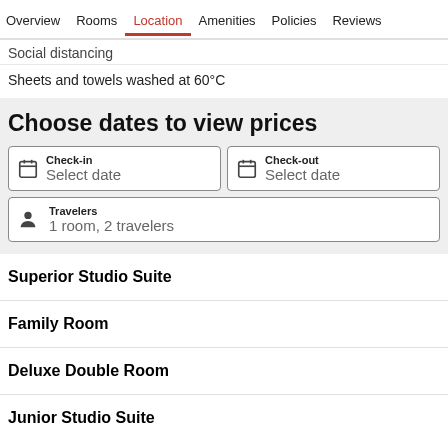Overview  Rooms  Location  Amenities  Policies  Reviews
Social distancing
Sheets and towels washed at 60°C
Choose dates to view prices
Check-in  Select date
Check-out  Select date
Travelers  1 room, 2 travelers
Superior Studio Suite
Family Room
Deluxe Double Room
Junior Studio Suite